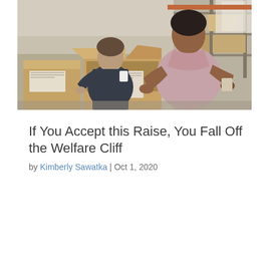[Figure (photo): Two warehouse workers packing cardboard boxes. A woman in a pink/mauve shirt is in the foreground opening a box, and a man in a dark shirt is in the background packing boxes. Warehouse shelving with packages visible in background.]
If You Accept this Raise, You Fall Off the Welfare Cliff
by Kimberly Sawatka | Oct 1, 2020